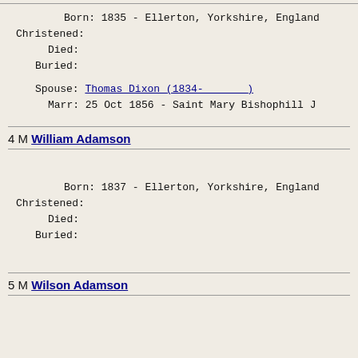Born: 1835 - Ellerton, Yorkshire, England
Christened:
Died:
Buried:

Spouse: Thomas Dixon (1834-       )
Marr: 25 Oct 1856 - Saint Mary Bishophill J
4 M William Adamson
Born: 1837 - Ellerton, Yorkshire, England
Christened:
Died:
Buried:
5 M Wilson Adamson